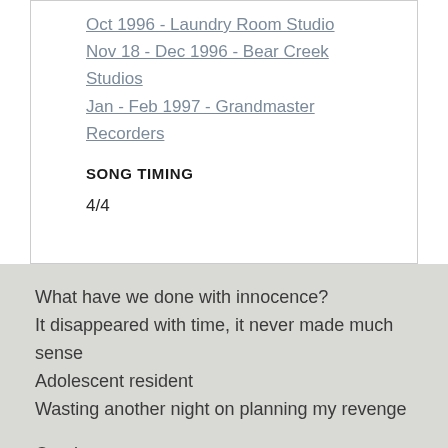Oct 1996 - Laundry Room Studio
Nov 18 - Dec 1996 - Bear Creek Studios
Jan - Feb 1997 - Grandmaster Recorders
SONG TIMING
4/4
What have we done with innocence?
It disappeared with time, it never made much sense
Adolescent resident
Wasting another night on planning my revenge
One in ten
One in ten
One in ten